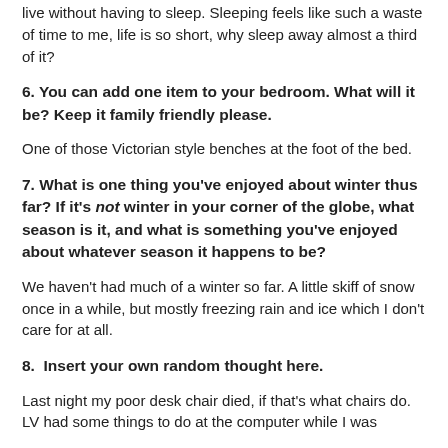live without having to sleep. Sleeping feels like such a waste of time to me, life is so short, why sleep away almost a third of it?
6. You can add one item to your bedroom. What will it be? Keep it family friendly please.
One of those Victorian style benches at the foot of the bed.
7. What is one thing you've enjoyed about winter thus far? If it's not winter in your corner of the globe, what season is it, and what is something you've enjoyed about whatever season it happens to be?
We haven't had much of a winter so far. A little skiff of snow once in a while, but mostly freezing rain and ice which I don't care for at all.
8.  Insert your own random thought here.
Last night my poor desk chair died, if that's what chairs do. LV had some things to do at the computer while I was